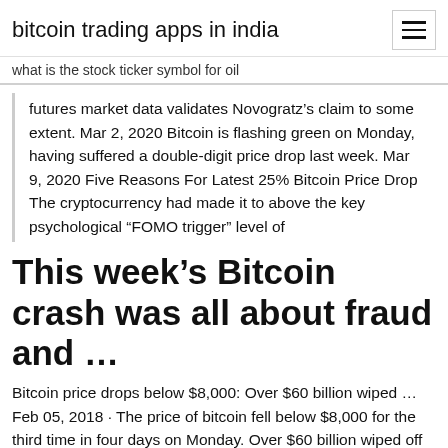bitcoin trading apps in india
what is the stock ticker symbol for oil
futures market data validates Novogratz's claim to some extent. Mar 2, 2020 Bitcoin is flashing green on Monday, having suffered a double-digit price drop last week. Mar 9, 2020 Five Reasons For Latest 25% Bitcoin Price Drop The cryptocurrency had made it to above the key psychological “FOMO trigger” level of
This week’s Bitcoin crash was all about fraud and …
Bitcoin price drops below $8,000: Over $60 billion wiped … Feb 05, 2018 · The price of bitcoin fell below $8,000 for the third time in four days on Monday. Over $60 billion wiped off value of cryptocurrencies as bitcoin drops below $8,000 again This a drop Bitcoin price: Why is bitcoin dropping today? BTC d…